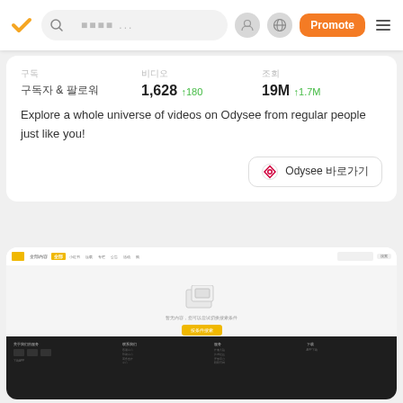Navigation bar with logo, search, profile icon, globe icon, Promote button, menu
구독자 & 팔로워
1,628 ↑180
19M ↑1.7M
Explore a whole universe of videos on Odysee from regular people just like you!
Odysee 바로가기
[Figure (screenshot): Screenshot of a Chinese/Japanese website with navigation bar, empty content area with icon and yellow button, and dark footer with columns]